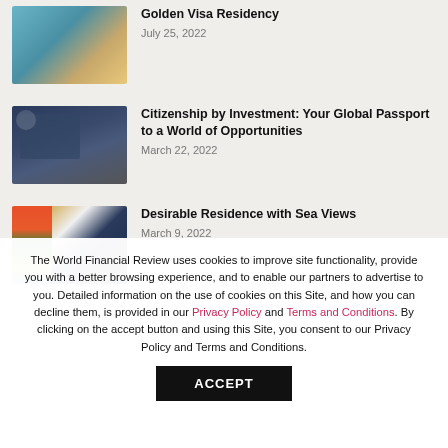[Figure (photo): Thumbnail image for Golden Visa Residency article - aerial/scenic view with blue tones]
Golden Visa Residency
July 25, 2022
[Figure (photo): Thumbnail image for Citizenship by Investment article - dark blue tones with passport/document imagery and logo]
Citizenship by Investment: Your Global Passport to a World of Opportunities
March 22, 2022
[Figure (photo): Thumbnail image for Desirable Residence with Sea Views article - man in suit seated, colorful background]
Desirable Residence with Sea Views
March 9, 2022
The World Financial Review uses cookies to improve site functionality, provide you with a better browsing experience, and to enable our partners to advertise to you. Detailed information on the use of cookies on this Site, and how you can decline them, is provided in our Privacy Policy and Terms and Conditions. By clicking on the accept button and using this Site, you consent to our Privacy Policy and Terms and Conditions.
ACCEPT